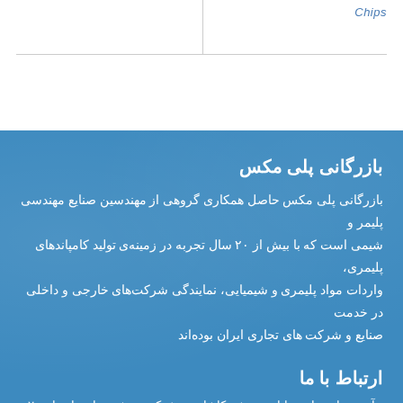Chips
بازرگانی پلی مکس
بازرگانی پلی مکس حاصل همکاری گروهی از مهندسین صنایع مهندسی پلیمر و شیمی است که با بیش از ۲۰ سال تجربه در زمینه‌ی تولید کامپاندهای پلیمری، واردات مواد پلیمری و شیمیایی، نمایندگی شرکت‌های خارجی و داخلی در خدمت صنایع و شرکت های تجاری ایران بوده‌اند
ارتباط با ما
آدرس: اصفهان خیابان محتشم کاشانی نبش کوچه بیژن ساختمان یاس ۲